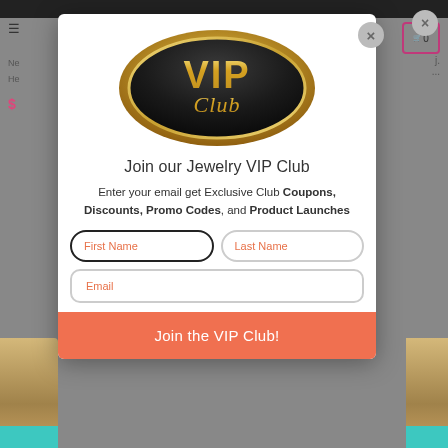[Figure (screenshot): Screenshot of a website with a VIP Club popup modal overlay. Background shows navigation bar, hamburger menu, product text and price, shopping cart icon. Modal contains VIP Club logo, promotional text, and email signup form.]
Join our Jewelry VIP Club
Enter your email get Exclusive Club Coupons, Discounts, Promo Codes, and Product Launches